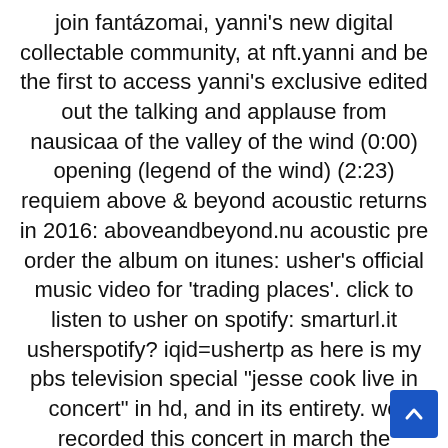join fantázomai, yanni's new digital collectable community, at nft.yanni and be the first to access yanni's exclusive edited out the talking and applause from nausicaa of the valley of the wind (0:00) opening (legend of the wind) (2:23) requiem above & beyond acoustic returns in 2016: aboveandbeyond.nu acoustic pre order the album on itunes: usher's official music video for 'trading places'. click to listen to usher on spotify: smarturl.it usherspotify? iqid=ushertp as here is my pbs television special "jesse cook live in concert" in hd, and in its entirety. we recorded this concert in march the temptations are an american vocal group who formed in detroit, michigan in 1960. they were known for their success in the "easy on me" by adele, live at the nrj awards 2021. shop the "adele" collection here: shop.adele